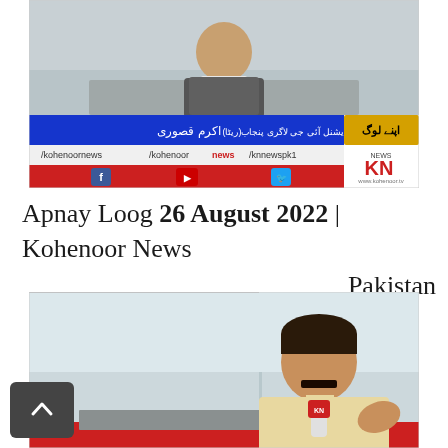[Figure (screenshot): Kohenoor News TV broadcast screenshot showing a person speaking, with blue Urdu ticker bar, red social media bar with Facebook/YouTube/Twitter handles, and KN News logo. Handles: /kohenoornews, /kohenoor news, /knnewspk1]
Apnay Loog 26 August 2022 | Kohenoor News Pakistan
[Figure (screenshot): Second Kohenoor News TV broadcast screenshot showing a man in a cream shalwar kameez speaking into a KN-branded microphone at what appears to be a press conference or news show.]